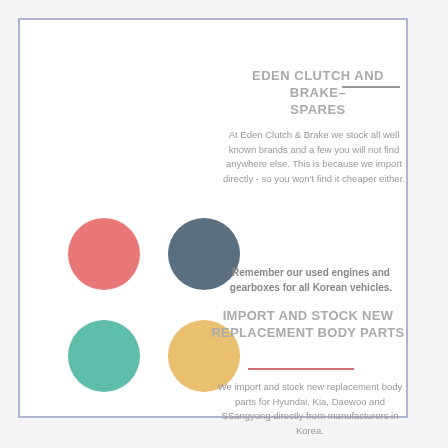EDEN CLUTCH AND BRAKE SPARES
At Eden Clutch & Brake we stock all well known brands and a few you will not find anywhere else. This is because we import directly - so you won't find it cheaper either.
Remember our used engines and gearboxes for all Korean vehicles.
IMPORT AND STOCK NEW REPLACEMENT BODY PARTS
We import and stock new replacement body parts for Hyundai, Kia, Daewoo and SSangyong directly from manufacturers in Korea.
EDEN SCRAP YARD
Feel free to enquire about the availablility of components or spares